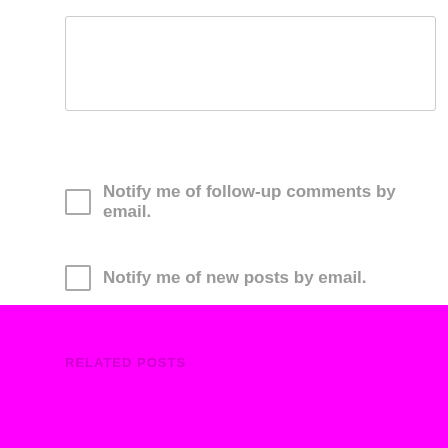[Figure (screenshot): A text area input field with border, empty]
Notify me of follow-up comments by email.
Notify me of new posts by email.
Post Comment
RELATED POSTS